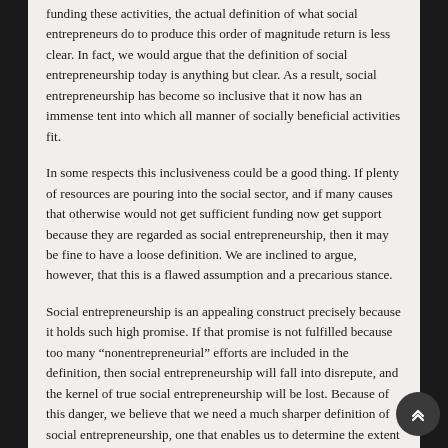funding these activities, the actual definition of what social entrepreneurs do to produce this order of magnitude return is less clear. In fact, we would argue that the definition of social entrepreneurship today is anything but clear. As a result, social entrepreneurship has become so inclusive that it now has an immense tent into which all manner of socially beneficial activities fit.
In some respects this inclusiveness could be a good thing. If plenty of resources are pouring into the social sector, and if many causes that otherwise would not get sufficient funding now get support because they are regarded as social entrepreneurship, then it may be fine to have a loose definition. We are inclined to argue, however, that this is a flawed assumption and a precarious stance.
Social entrepreneurship is an appealing construct precisely because it holds such high promise. If that promise is not fulfilled because too many “nonentrepreneurial” efforts are included in the definition, then social entrepreneurship will fall into disrepute, and the kernel of true social entrepreneurship will be lost. Because of this danger, we believe that we need a much sharper definition of social entrepreneurship, one that enables us to determine the extent to which an activity is and is not “in the tent.” Our goal is not to make an invidious comparison between the contributions made by traditional